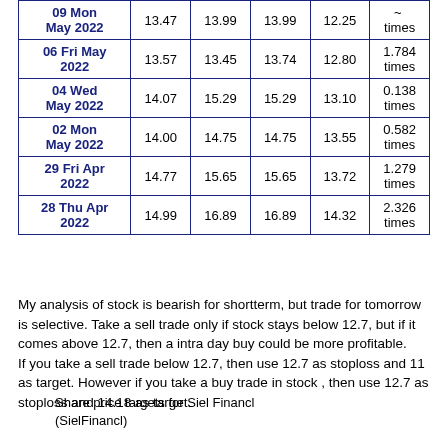| Date | Price | Col3 | Col4 | Col5 | Volume/Times |
| --- | --- | --- | --- | --- | --- |
| 09 Mon May 2022 | 13.47 | 13.99 | 13.99 | 12.25 | ~times |
| 06 Fri May 2022 | 13.57 | 13.45 | 13.74 | 12.80 | 1.784 times |
| 04 Wed May 2022 | 14.07 | 15.29 | 15.29 | 13.10 | 0.138 times |
| 02 Mon May 2022 | 14.00 | 14.75 | 14.75 | 13.55 | 0.582 times |
| 29 Fri Apr 2022 | 14.77 | 15.65 | 15.65 | 13.72 | 1.279 times |
| 28 Thu Apr 2022 | 14.99 | 16.89 | 16.89 | 14.32 | 2.326 times |
My analysis of stock is bearish for shortterm, but trade for tomorrow is selective. Take a sell trade only if stock stays below 12.7, but if it comes above 12.7, then a intra day buy could be more profitable. If you take a sell trade below 12.7, then use 12.7 as stoploss and 11 as target. However if you take a buy trade in stock , then use 12.7 as stoploss and 14.18 as target.
Share price targets for Siel Financl (SielFinancl)